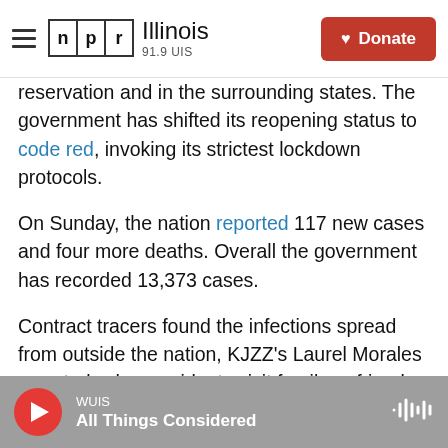NPR Illinois 91.9 UIS | Donate
reservation and in the surrounding states. The government has shifted its reopening status to code red, invoking its strictest lockdown protocols.
On Sunday, the nation reported 117 new cases and four more deaths. Overall the government has recorded 13,373 cases.
Contract tracers found the infections spread from outside the nation, KJZZ's Laurel Morales reported, when residents visit family or friends and then return
Tribal officials say they still have a few ICU beds
WUIS | All Things Considered